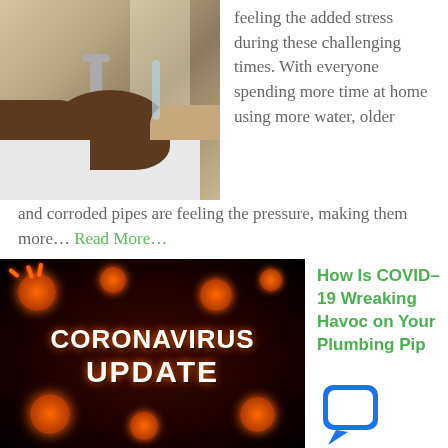[Figure (photo): Person washing hands at a sink, water running over dark hands above a white basin]
feeling the added stress during these challenging times.  With everyone spending more time at home using more water, older and corroded pipes are feeling the pressure, making them more… Read More…
[Figure (photo): Dark background with orange coronavirus particles and white bold text reading CORONAVIRUS UPDATE]
How Is COVID-19 Wreaking Havoc on Your Plumbing Pi...
As we are